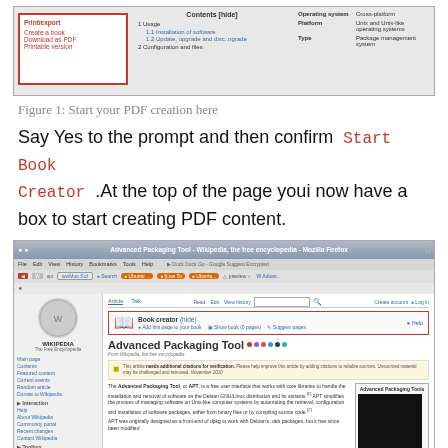[Figure (screenshot): Screenshot of a Wikipedia page showing Print/export sidebar with options (Create a book, Download as PDF, Printable version), Contents table of contents panel, and an infobox with Operating system, Platform, and Type fields.]
Figure 1: Start your PDF creation here
Say Yes to the prompt and then confirm Start Book Creator .At the top of the page youi now have a box to start creating PDF content.
[Figure (screenshot): Screenshot of Wikipedia's Advanced Packaging Tool article in Mozilla Firefox, showing the Book creator toolbar with a red border highlighted at the top of the article content area, with options: Add this page to your book, Show book (0 pages), Suggest pages, and Help.]